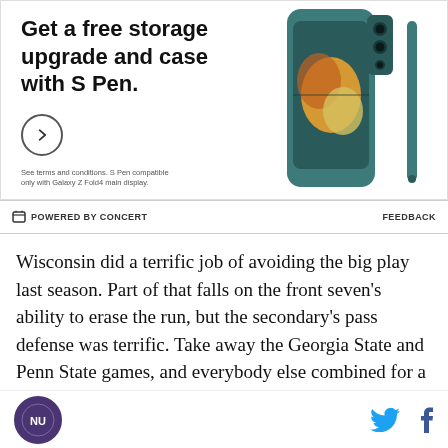[Figure (illustration): Samsung Galaxy Z Fold4 advertisement showing teal/dark green phone with S Pen. Text reads 'Get a free storage upgrade and case with S Pen.' with a circular arrow button and fine print about terms and conditions.]
POWERED BY CONCERT
FEEDBACK
Wisconsin did a terrific job of avoiding the big play last season. Part of that falls on the front seven's ability to erase the run, but the secondary's pass defense was terrific. Take away the Georgia State and Penn State games, and everybody else combined for a “50 percent completion rate, 11.7 yards per completion,” SB Nation’s Bill Connelly cites in his coverage.
NU logo | Twitter and Facebook social icons